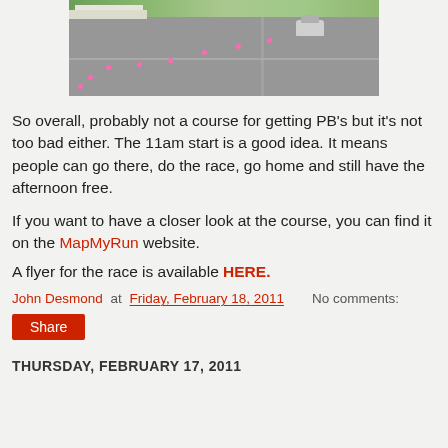[Figure (photo): Street-level photo of a road/intersection with pink dots marking points along the route and a car visible in the background, trees and a building on the left.]
So overall, probably not a course for getting PB's but it's not too bad either. The 11am start is a good idea. It means people can go there, do the race, go home and still have the afternoon free.
If you want to have a closer look at the course, you can find it on the MapMyRun website.
A flyer for the race is available HERE.
John Desmond at Friday, February 18, 2011    No comments:
Share
THURSDAY, FEBRUARY 17, 2011